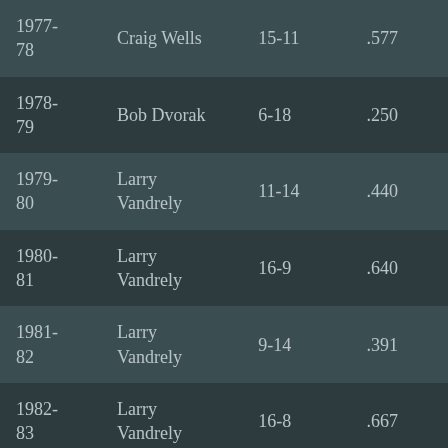| Year | Coach | Record | Pct |
| --- | --- | --- | --- |
| 1977-78 | Craig Wells | 15-11 | .577 |
| 1978-79 | Bob Dvorak | 6-18 | .250 |
| 1979-80 | Larry Vandrely | 11-14 | .440 |
| 1980-81 | Larry Vandrely | 16-9 | .640 |
| 1981-82 | Larry Vandrely | 9-14 | .391 |
| 1982-83 | Larry Vandrely | 16-8 | .667 |
| 1983-84 | Larry Vandrely | 5-18 | .217 |
| 1984-85 | Curtis Fortney | 10-17 | .370 |
| 1985- | Curtis Fortney | 6-17 | .261 |